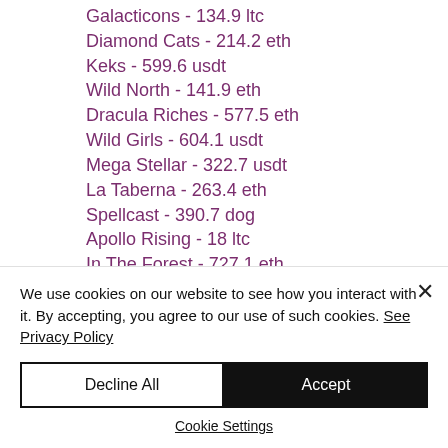Galacticons - 134.9 ltc
Diamond Cats - 214.2 eth
Keks - 599.6 usdt
Wild North - 141.9 eth
Dracula Riches - 577.5 eth
Wild Girls - 604.1 usdt
Mega Stellar - 322.7 usdt
La Taberna - 263.4 eth
Spellcast - 390.7 dog
Apollo Rising - 18 ltc
In The Forest - 727.1 eth
Grand Monarch - 311.8 eth
Knockout - 485.1 ltc
We use cookies on our website to see how you interact with it. By accepting, you agree to our use of such cookies. See Privacy Policy
Decline All | Accept
Cookie Settings